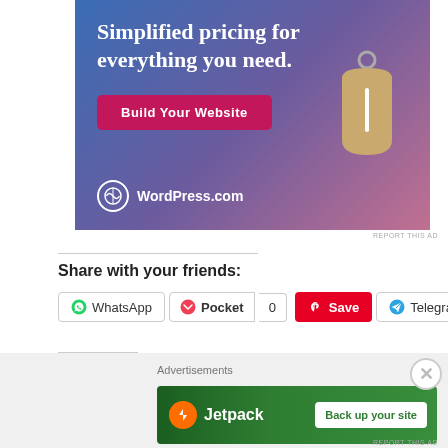[Figure (illustration): WordPress.com advertisement banner with gradient blue-purple-pink background, large white serif text 'Simplified pricing for everything you need.', a pink 'Build Your Website' button, a tan price tag with ring, and WordPress.com logo at bottom left.]
REPORT THIS AD
Share with your friends:
[Figure (infographic): Social share buttons row: WhatsApp, Pocket (with count 0), Save (Pinterest, red), Telegram]
Like this:
Advertisements
[Figure (illustration): Jetpack advertisement banner with green gradient background, Jetpack logo and name on left, white 'Back up your site' button on right.]